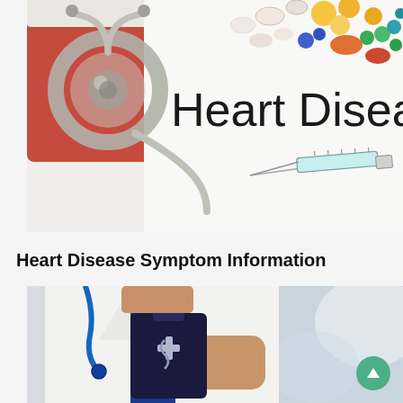[Figure (photo): Medical photo showing a stethoscope on a red background alongside pills/tablets in various colors, a syringe, and the large text 'Heart Diseas' on white paper]
Heart Disease Symptom Information
[Figure (photo): Photo of a doctor in a white coat with a blue stethoscope, holding a dark clipboard with a medical symbol, with a blurred background]